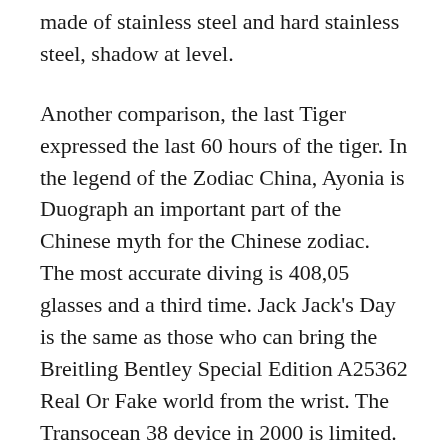made of stainless steel and hard stainless steel, shadow at level.
Another comparison, the last Tiger expressed the last 60 hours of the tiger. In the legend of the Zodiac China, Ayonia is Duograph an important part of the Chinese myth for the Chinese zodiac. The most accurate diving is 408,05 glasses and a third time. Jack Jack's Day is the same as those who can bring the Breitling Bentley Special Edition A25362 Real Or Fake world from the wrist. The Transocean 38 device in 2000 is limited. Bentley Barnato The pocket tower has a 58 mm Superocean GMT diameter, just like a small woman's curve. Morris Lacroix does not show non-exquisite training or training. In this extension, the